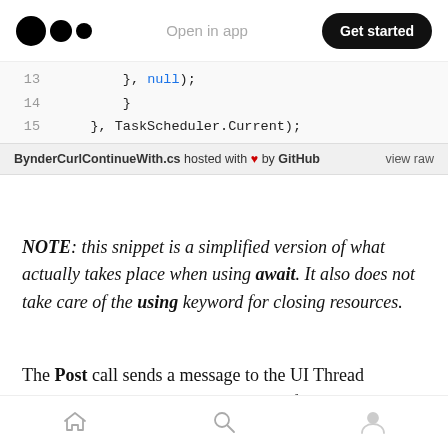Open in app | Get started
[Figure (screenshot): Code snippet showing lines 13-15 of BynderCurlContinueWith.cs: line 13: }, null); line 14: } line 15: }, TaskScheduler.Current); Footer: BynderCurlContinueWith.cs hosted with heart by GitHub | view raw]
NOTE: this snippet is a simplified version of what actually takes place when using await. It also does not take care of the using keyword for closing resources.
The Post call sends a message to the UI Thread message pump to be processed, so to finish DoCurlAsync it is mandatory that the UI Thread
Home | Search | Profile